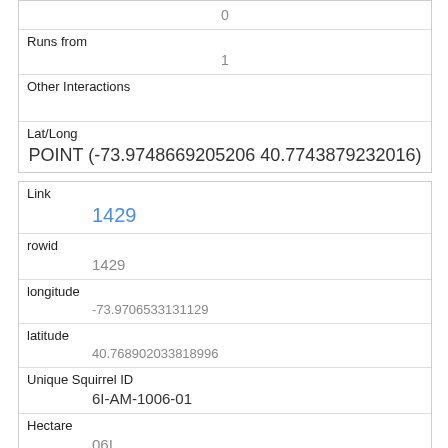| 0 |
| Runs from | 1 |
| Other Interactions |  |
| Lat/Long | POINT (-73.9748669205206 40.7743879232016) |
| Link | 1429 |
| rowid | 1429 |
| longitude | -73.9706533131129 |
| latitude | 40.768902033818996 |
| Unique Squirrel ID | 6I-AM-1006-01 |
| Hectare | 06I |